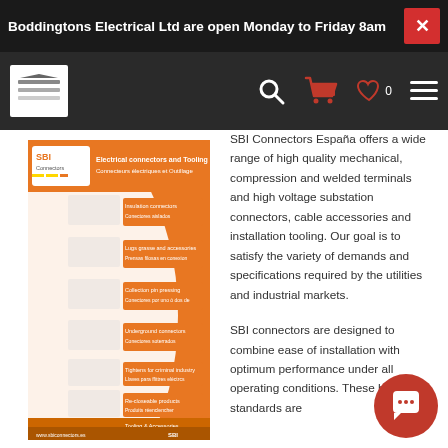Boddingtons Electrical Ltd are open Monday to Friday 8am
[Figure (screenshot): Website navigation bar with logo, search icon, cart icon, wishlist icon (0), and menu icon on dark background]
[Figure (illustration): SBI Connectors España product brochure showing electrical connectors and tooling, with orange background and product categories listed]
SBI Connectors España offers a wide range of high quality mechanical, compression and welded terminals and high voltage substation connectors, cable accessories and installation tooling. Our goal is to satisfy the variety of demands and specifications required by the utilities and industrial markets.
SBI connectors are designed to combine ease of installation with optimum performance under all operating conditions. These high standards are